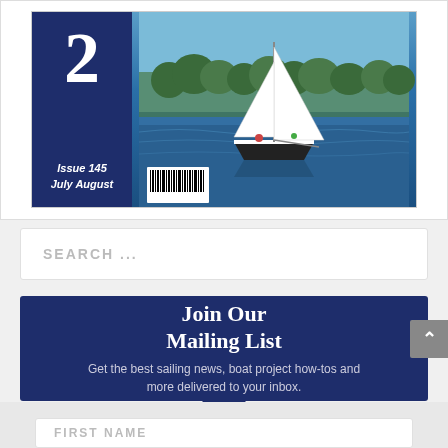[Figure (photo): Magazine cover showing a sailboat on blue water, with issue number 2, Issue 145 July August text on navy blue left panel, and a barcode at bottom left]
SEARCH ...
Join Our Mailing List
Get the best sailing news, boat project how-tos and more delivered to your inbox.
FIRST NAME